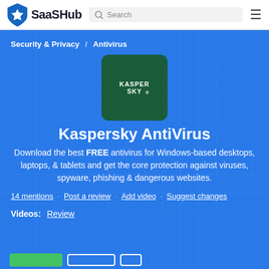SaaSHub
Security & Privacy / Antivirus
[Figure (logo): Kaspersky Lab logo on dark green rounded square background]
Kaspersky AntiVirus
Download the best FREE antivirus for Windows-based desktops, laptops, & tablets and get the core protection against viruses, spyware, phishing & dangerous websites.
14 mentions · Post a review · Add video · Suggest changes
Videos: Review